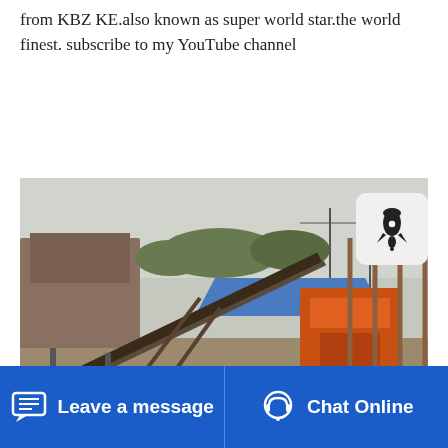from KBZ KE.also known as super world star.the world finest. subscribe to my YouTube channel
Read More
[Figure (photo): Industrial mining/crushing plant with conveyor belts, orange machinery, scaffolding structures, and industrial buildings in a dusty outdoor environment.]
Leave a message   Chat Online